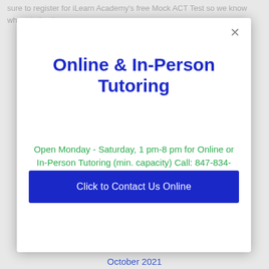sure to register for iLearn Academy's free Mock ACT Test so we know where to begin.
Online & In-Person Tutoring
Open Monday - Saturday, 1 pm-8 pm for Online or In-Person Tutoring (min. capacity) Call: 847-834-0791
Click to Contact Us Online
October 2021